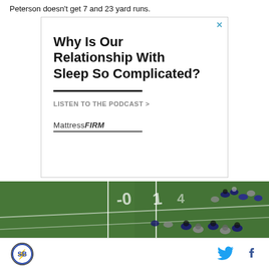Peterson doesn't get 7 and 23 yard runs.
[Figure (screenshot): Advertisement for Mattress Firm podcast. Headline: 'Why Is Our Relationship With Sleep So Complicated?' with a call to action 'LISTEN TO THE PODCAST >' and Mattress Firm logo.]
[Figure (photo): Aerial view of an American football game in progress, players on green field with yard line markings visible.]
Site logo icon | Twitter bird icon | Facebook f icon